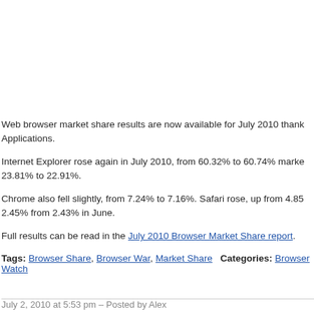Web browser market share results are now available for July 2010 thanks to Net Applications.
Internet Explorer rose again in July 2010, from 60.32% to 60.74% market share. Firefox fell from 23.81% to 22.91%.
Chrome also fell slightly, from 7.24% to 7.16%. Safari rose, up from 4.85% in June to 2.45% from 2.43% in June.
Full results can be read in the July 2010 Browser Market Share report.
Tags: Browser Share, Browser War, Market Share   Categories: Browser Watch
July 2, 2010 at 5:53 pm – Posted by Alex